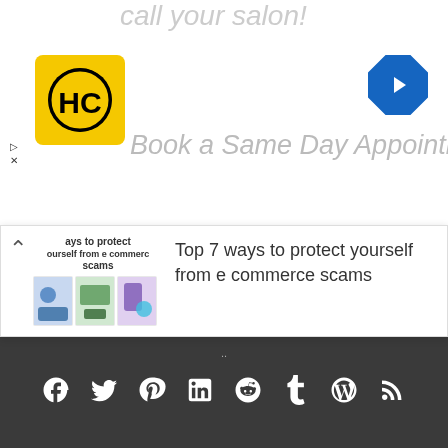call your salon!
[Figure (logo): HC logo - yellow square with HC letters in black circle]
[Figure (other): Blue diamond navigation arrow icon]
Book a Same Day Appointment
[Figure (screenshot): Popup card showing thumbnail image and title: Top 7 ways to protect yourself from e commerce scams]
Top 7 ways to protect yourself from e commerce scams
Premium Cookies - PLUGINS - Email -Services - Template
Privacy Policy - DMCA policy
[Figure (other): Social media icons: Facebook, Twitter, Pinterest, LinkedIn, Reddit, Tumblr, WordPress, RSS]